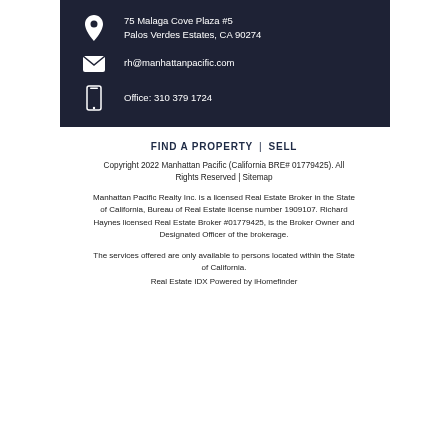75 Malaga Cove Plaza #5
Palos Verdes Estates, CA 90274
rh@manhattanpacific.com
Office: 310 379 1724
FIND A PROPERTY | SELL
Copyright 2022 Manhattan Pacific (California BRE# 01779425). All Rights Reserved | Sitemap
Manhattan Pacific Realty Inc. is a licensed Real Estate Broker in the State of California, Bureau of Real Estate license number 1909107. Richard Haynes licensed Real Estate Broker #01779425, is the Broker Owner and Designated Officer of the brokerage.
The services offered are only available to persons located within the State of California.
Real Estate IDX Powered by iHomefinder